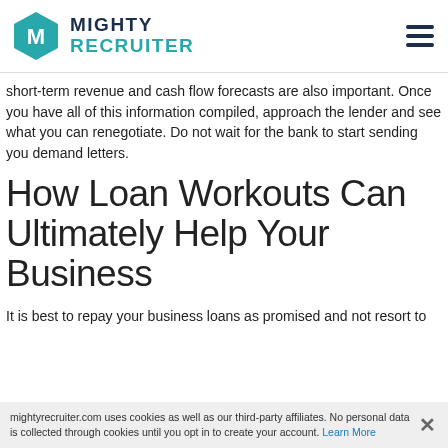[Figure (logo): MightyRecruiter logo with teal hexagon icon and dark blue bold text]
short-term revenue and cash flow forecasts are also important. Once you have all of this information compiled, approach the lender and see what you can renegotiate. Do not wait for the bank to start sending you demand letters.
How Loan Workouts Can Ultimately Help Your Business
It is best to repay your business loans as promised and not resort to
mightyrecruiter.com uses cookies as well as our third-party affiliates. No personal data is collected through cookies until you opt in to create your account. Learn More